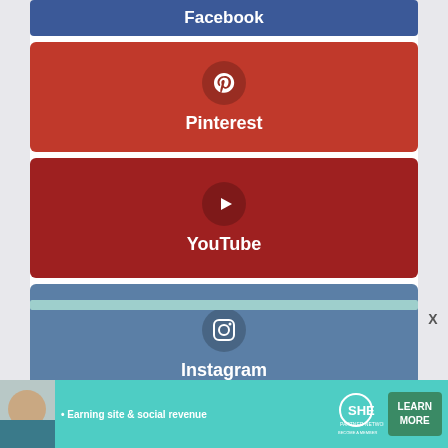[Figure (infographic): Facebook social media button - blue rectangle with 'Facebook' text in white bold]
[Figure (infographic): Pinterest social media button - red rectangle with Pinterest pin icon in circle and 'Pinterest' label in white bold]
[Figure (infographic): YouTube social media button - dark red rectangle with YouTube play icon in circle and 'YouTube' label in white bold]
[Figure (infographic): Instagram social media button - steel blue rectangle with Instagram camera icon in circle and 'Instagram' label in white bold]
[Figure (infographic): SHE Partner Network advertisement banner with woman photo, tagline 'Earning site & social revenue', SHE logo, and 'LEARN MORE' green button]